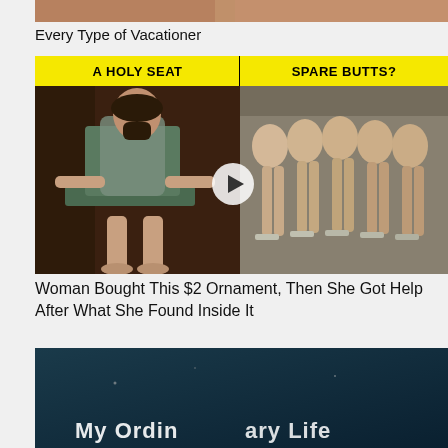[Figure (photo): Partial bottom of a photo showing people, cropped at top of page]
Every Type of Vacationer
[Figure (photo): Split image with yellow header bars reading 'A HOLY SEAT' and 'SPARE BUTTS?' on left a Jesus-themed chair statue on right rows of mannequin lower-body displays. A play button overlay is in the center.]
Woman Bought This $2 Ornament, Then She Got Help After What She Found Inside It
[Figure (photo): Dark teal/blue background image with partial white text reading 'My Ordinary Life' at the bottom]